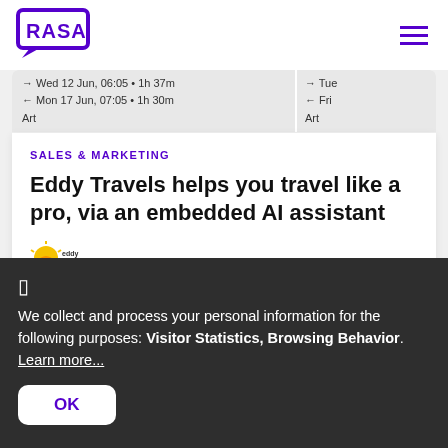[Figure (logo): RASA logo — purple speech bubble containing the word RASA in block letters]
[Figure (other): Hamburger menu icon (three horizontal purple lines)]
→ Wed 12 Jun, 06:05 • 1h 37m
← Mon 17 Jun, 07:05 • 1h 30m
Art
→ Tue
← Fri
Art
SALES & MARKETING
Eddy Travels helps you travel like a pro, via an embedded AI assistant
[Figure (logo): Eddy Travels logo — small yellow sun/taco icon with 'eddy travels' text]
We collect and process your personal information for the following purposes: Visitor Statistics, Browsing Behavior. Learn more...
OK